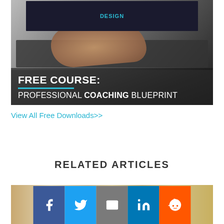[Figure (photo): Laptop with hands typing, showing a design concept on screen, with overlaid text promoting a free course.]
FREE COURSE: PROFESSIONAL COACHING BLUEPRINT
View All Free Downloads>>
RELATED ARTICLES
[Figure (photo): Partial photo strip showing bookshelves, partially visible at the bottom of the page.]
[Figure (infographic): Social share buttons row: Facebook, Twitter, Email, LinkedIn, Reddit]